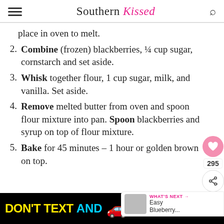Southern Kissed
place in oven to melt.
2. Combine (frozen) blackberries, ¼ cup sugar, cornstarch and set aside.
3. Whisk together flour, 1 cup sugar, milk, and vanilla. Set aside.
4. Remove melted butter from oven and spoon flour mixture into pan. Spoon blackberries and syrup on top of flour mixture.
5. Bake for 45 minutes – 1 hour or golden brown on top.
[Figure (other): Advertisement banner: DON'T TEXT AND [car emoji], ad badge, NHTSA logo]